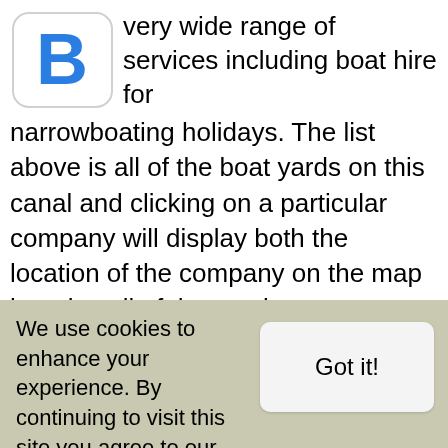[Figure (logo): Blue letter B logo icon with rounded rectangle border]
very wide range of services including boat hire for narrowboating holidays. The list above is all of the boat yards on this canal and clicking on a particular company will display both the location of the company on the map but also all of the services.
The list of Boat Yards contains information about service providers that we are aware of
We use cookies to enhance your experience. By continuing to visit this site you agree to our use of cookies. More info